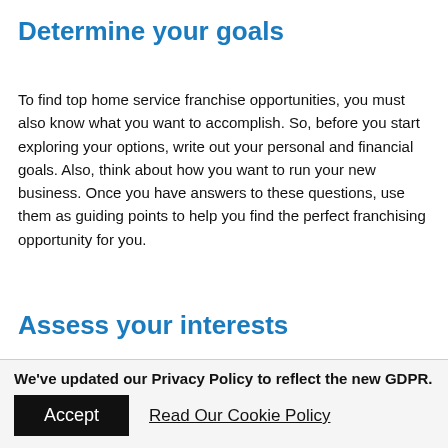Determine your goals
To find top home service franchise opportunities, you must also know what you want to accomplish. So, before you start exploring your options, write out your personal and financial goals. Also, think about how you want to run your new business. Once you have answers to these questions, use them as guiding points to help you find the perfect franchising opportunity for you.
Assess your interests
We've updated our Privacy Policy to reflect the new GDPR.
Accept   Read Our Cookie Policy